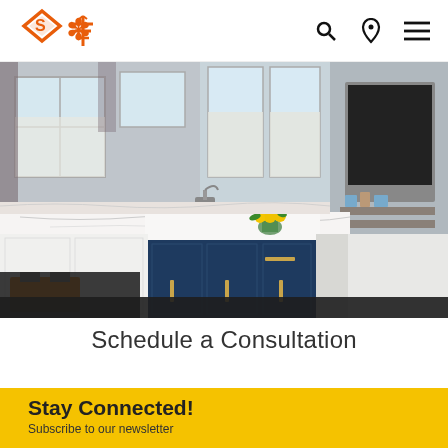[Figure (logo): Company logo: orange diamond shape with S overlaid, and orange tree/asterisk symbol beside it]
[Figure (photo): Modern kitchen interior with white marble countertops, navy blue island cabinets with gold hardware, white perimeter cabinets, large windows with blinds, yellow flower arrangement on island, shelving unit with TV on right side]
Schedule a Consultation
Stay Connected!
Subscribe to our newsletter